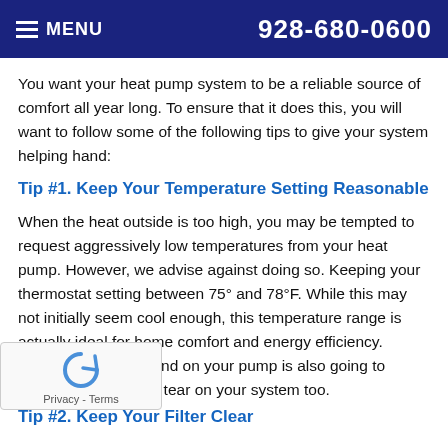MENU  928-680-0600
You want your heat pump system to be a reliable source of comfort all year long. To ensure that it does this, you will want to follow some of the following tips to give your system helping hand:
Tip #1. Keep Your Temperature Setting Reasonable
When the heat outside is too high, you may be tempted to request aggressively low temperatures from your heat pump. However, we advise against doing so. Keeping your thermostat setting between 75° and 78°F. While this may not initially seem cool enough, this temperature range is actually ideal for home comfort and energy efficiency. Reducing your demand on your pump is also going to reduce the wear and tear on your system too.
Tip #2. Keep Your Filter Clear